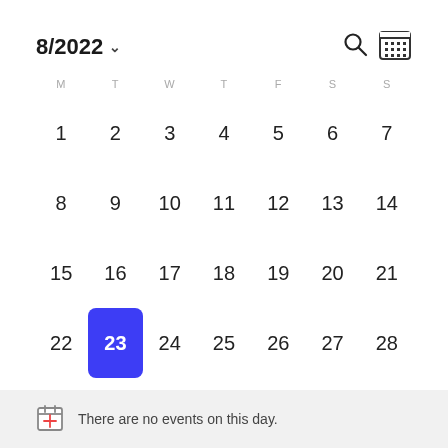8/2022
[Figure (screenshot): Calendar view for August 2022 with day 23 selected (highlighted in blue). Days of week headers: M T W T F S S. Rows: 1-7, 8-14, 15-21, 22-28 (23 selected), 29-31 and Sept 1-4. Bottom bar: 'There are no events on this day.']
There are no events on this day.